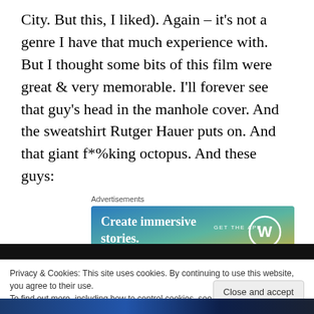City. But this, I liked). Again – it's not a genre I have that much experience with. But I thought some bits of this film were great & very memorable. I'll forever see that guy's head in the manhole cover. And the sweatshirt Rutger Hauer puts on. And that giant f*%king octopus. And these guys:
[Figure (screenshot): WordPress advertisement banner: 'Create immersive stories. GET THE APP' with gradient blue-to-yellow background and WordPress logo]
Privacy & Cookies: This site uses cookies. By continuing to use this website, you agree to their use.
To find out more, including how to control cookies, see here: Cookie Policy
Close and accept